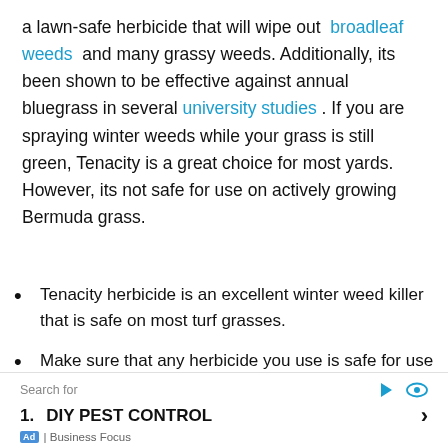a lawn-safe herbicide that will wipe out broadleaf weeds and many grassy weeds. Additionally, its been shown to be effective against annual bluegrass in several university studies . If you are spraying winter weeds while your grass is still green, Tenacity is a great choice for most yards. However, its not safe for use on actively growing Bermuda grass.
Tenacity herbicide is an excellent winter weed killer that is safe on most turf grasses.
Make sure that any herbicide you use is safe for use on your grass if your lawn is green and growing.
If your lawn is dormant, you can safely use to Roundup to spray weeds without harming grass.
Search for | Ad | Business Focus | DIY PEST CONTROL